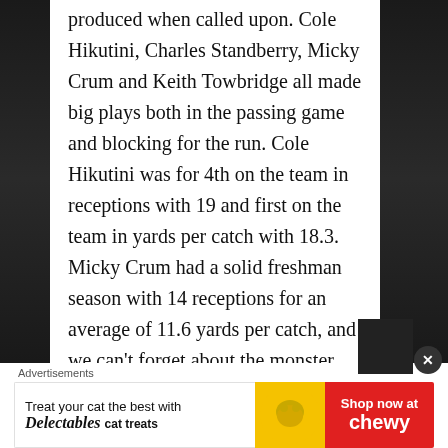produced when called upon. Cole Hikutini, Charles Standberry, Micky Crum and Keith Towbridge all made big plays both in the passing game and blocking for the run. Cole Hikutini was for 4th on the team in receptions with 19 and first on the team in yards per catch with 18.3. Micky Crum had a solid freshman season with 14 receptions for an average of 11.6 yards per catch, and we can't forget about the monster
Advertisements
[Figure (other): Advertisement banner: Treat your cat the best with Delectables cat treats — Shop now at Chewy]